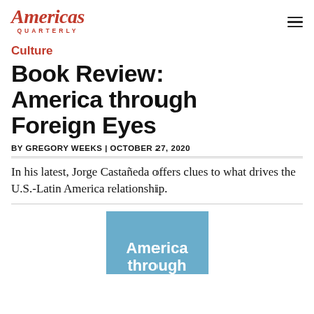Americas Quarterly
Culture
Book Review: America through Foreign Eyes
BY GREGORY WEEKS | OCTOBER 27, 2020
In his latest, Jorge Castañeda offers clues to what drives the U.S.-Latin America relationship.
[Figure (illustration): Book cover of 'America Through' (partially visible) with a light blue background and white bold text]